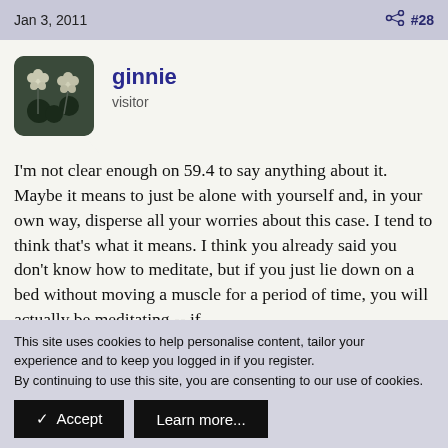Jan 3, 2011   #28
[Figure (photo): Avatar image of user ginnie showing white dandelion/flower heads on dark background]
ginnie
visitor
I'm not clear enough on 59.4 to say anything about it. Maybe it means to just be alone with yourself and, in your own way, disperse all your worries about this case. I tend to think that's what it means. I think you already said you don't know how to meditate, but if you just lie down on a bed without moving a muscle for a period of time, you will actually be meditating -- if
This site uses cookies to help personalise content, tailor your experience and to keep you logged in if you register.
By continuing to use this site, you are consenting to our use of cookies.
✓ Accept   Learn more…